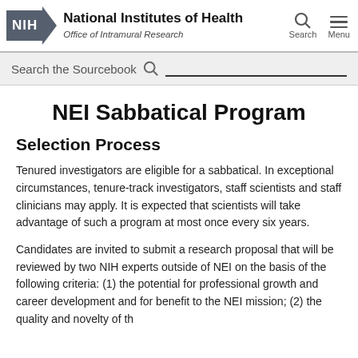NIH National Institutes of Health Office of Intramural Research
NEI Sabbatical Program
Selection Process
Tenured investigators are eligible for a sabbatical. In exceptional circumstances, tenure-track investigators, staff scientists and staff clinicians may apply. It is expected that scientists will take advantage of such a program at most once every six years.
Candidates are invited to submit a research proposal that will be reviewed by two NIH experts outside of NEI on the basis of the following criteria: (1) the potential for professional growth and career development and for benefit to the NEI mission; (2) the quality and novelty of th